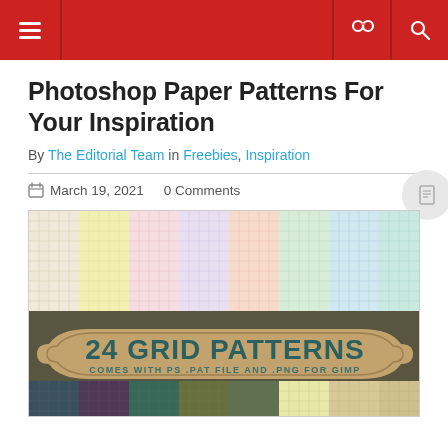Navigation bar with hamburger menu, link icon, and search icon
Photoshop Paper Patterns For Your Inspiration
By The Editorial Team in Freebies, Inspiration
March 19, 2021   0 Comments
[Figure (photo): 24 Grid Patterns promotional image showing pastel-colored grid paper patterns with a decorative label badge in the center reading '24 GRID PATTERNS - COMES WITH PS .PAT FILE AND .PNG FOR GIMP']